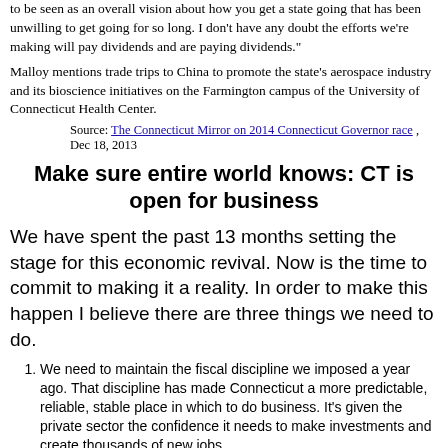to be seen as an overall vision about how you get a state going that has been unwilling to get going for so long. I don't have any doubt the efforts we're making will pay dividends and are paying dividends."
Malloy mentions trade trips to China to promote the state's aerospace industry and its bioscience initiatives on the Farmington campus of the University of Connecticut Health Center.
Source: The Connecticut Mirror on 2014 Connecticut Governor race , Dec 18, 2013
Make sure entire world knows: CT is open for business
We have spent the past 13 months setting the stage for this economic revival. Now is the time to commit to making it a reality. In order to make this happen I believe there are three things we need to do.
We need to maintain the fiscal discipline we imposed a year ago. That discipline has made Connecticut a more predictable, reliable, stable place in which to do business. It's given the private sector the confidence it needs to make investments and create thousands of new jobs.
We need to continue to make sure the entire world knows Connecticut is open for business.
We need to reform the public school system that educates our children.
And we need to commit to this vision and implement it--year after year, until we get it right. That's been one of our problems for too long: we're good at making plans, we're not good at sticking to them. Too often we've found ourselves simply careening from idea